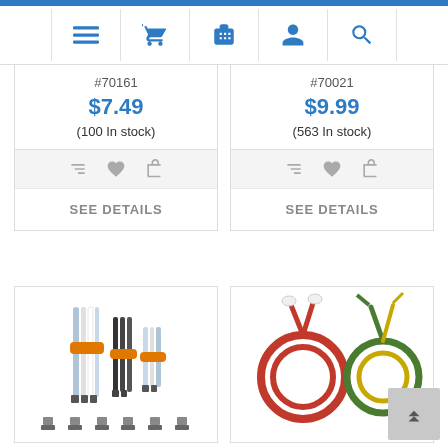Navigation bar with menu, cart, briefcase, user, and search icons
#70161
$7.49
(100 In stock)
SEE DETAILS
#70021
$9.99
(563 In stock)
SEE DETAILS
[Figure (photo): Three bundled cable sets with orange ties, various lengths]
[Figure (photo): Two coiled wire sets — red coiled cable and green/yellow twisted wire]